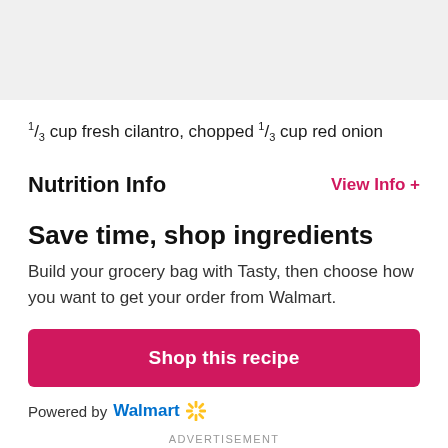⅓ cup fresh cilantro, chopped
⅓ cup red onion
Nutrition Info
View Info +
Save time, shop ingredients
Build your grocery bag with Tasty, then choose how you want to get your order from Walmart.
Shop this recipe
Powered by Walmart
ADVERTISEMENT